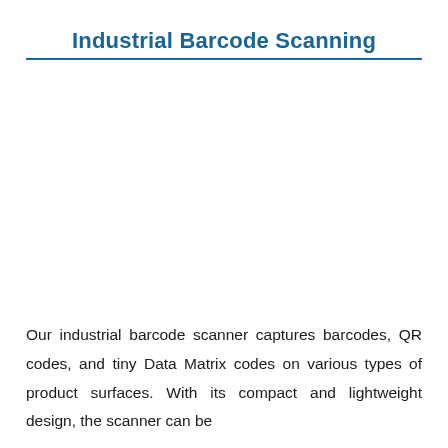Industrial Barcode Scanning
Our industrial barcode scanner captures barcodes, QR codes, and tiny Data Matrix codes on various types of product surfaces. With its compact and lightweight design, the scanner can be